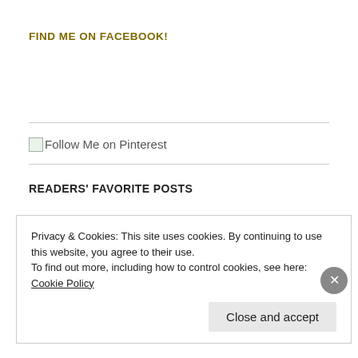FIND ME ON FACEBOOK!
[Figure (other): Horizontal divider line]
[Figure (other): Follow Me on Pinterest image link with broken image placeholder]
[Figure (other): Horizontal divider line]
READERS' FAVORITE POSTS
Five Ways to Win My Heart
Privacy & Cookies: This site uses cookies. By continuing to use this website, you agree to their use.
To find out more, including how to control cookies, see here: Cookie Policy
Close and accept